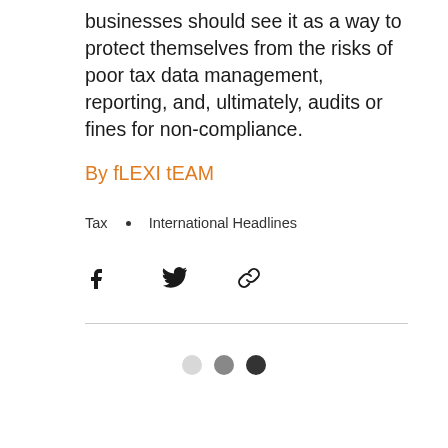businesses should see it as a way to protect themselves from the risks of poor tax data management, reporting, and, ultimately, audits or fines for non-compliance.
By fLEXI tEAM
Tax  •  International Headlines
[Figure (infographic): Social sharing icons: Facebook, Twitter, and link/chain icon]
[Figure (infographic): Three pagination dots: light gray, medium gray, and dark gray/black]